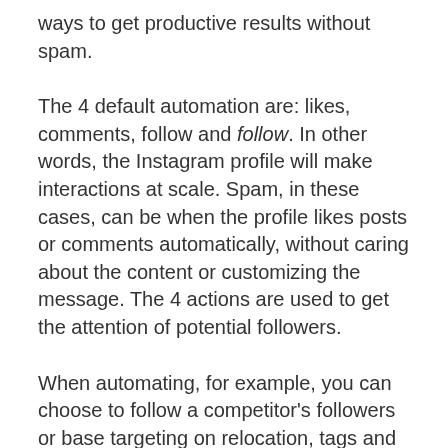ways to get productive results without spam.
The 4 default automation are: likes, comments, follow and follow. In other words, the Instagram profile will make interactions at scale. Spam, in these cases, can be when the profile likes posts or comments automatically, without caring about the content or customizing the message. The 4 actions are used to get the attention of potential followers.
When automating, for example, you can choose to follow a competitor's followers or base targeting on relocation, tags and other options.
Extra care must be taken when using such tools – avoid using them when your Instagram profile is still new or has few followers. This increases the